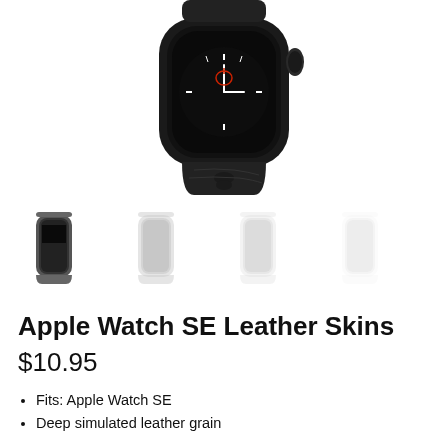[Figure (photo): Apple Watch SE with black sport band, partial view showing watch face and band from above, on white background]
[Figure (photo): Row of four Apple Watch SE thumbnail images fading from dark/visible on the left to very light/ghosted on the right]
Apple Watch Watch SE Leather Skins
$10.95
Fits: Apple Watch SE
Deep simulated leather grain